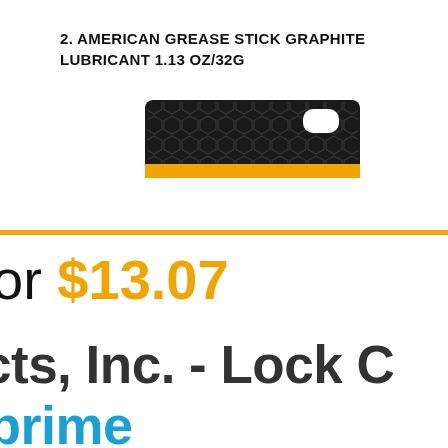2. AMERICAN GREASE STICK GRAPHITE LUBRICANT 1.13 OZ/32G
[Figure (photo): Product packaging for American Grease Stick Graphite Lubricant — a flat black card with honeycomb hexagonal texture pattern and a hanging hole, with an orange/yellow stripe at the bottom]
or $13.07
cts, Inc. - Lock C
prime